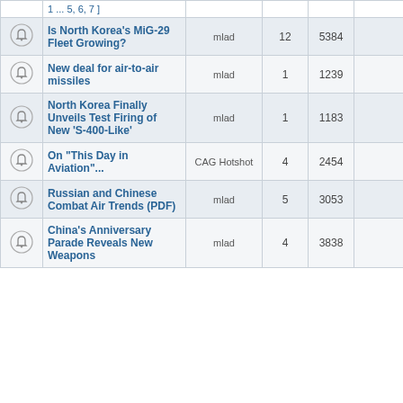|  | Topic | Author | Replies | Views | Last Post |
| --- | --- | --- | --- | --- | --- |
|  | [ 1 ... 5, 6, 7 ] |  |  |  |  |
| icon | Is North Korea's MiG-29 Fleet Growing? | mlad | 12 | 5384 | Thu Dec 09, 2021 21 CAG Hotshot → |
| icon | New deal for air-to-air missiles | mlad | 1 | 1239 | Mon Oct 04, 2021 05 CAG Hotshot → |
| icon | North Korea Finally Unveils Test Firing of New 'S-400-Like' | mlad | 1 | 1183 | Mon Oct 04, 2021 05 CAG Hotshot → |
| icon | On "This Day in Aviation"... | CAG Hotshot | 4 | 2454 | Thu Feb 11, 2021 07 CAG Hotshot → |
| icon | Russian and Chinese Combat Air Trends (PDF) | mlad | 5 | 3053 | Tue Dec 01, 2020 17 CAG Hotshot → |
| icon | China's Anniversary Parade Reveals New Weapons | mlad | 4 | 3838 | Mon Nov 30, 2020 11 CAG Hotshot → |